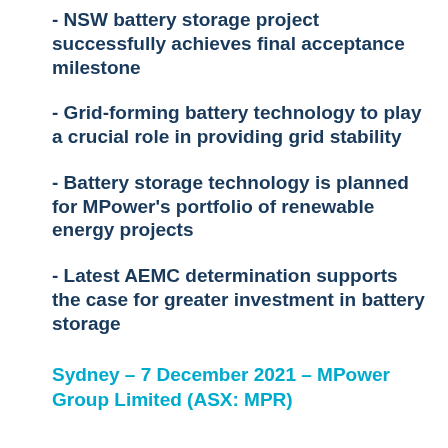- NSW battery storage project successfully achieves final acceptance milestone
- Grid-forming battery technology to play a crucial role in providing grid stability
- Battery storage technology is planned for MPower's portfolio of renewable energy projects
- Latest AEMC determination supports the case for greater investment in battery storage
Sydney – 7 December 2021 – MPower Group Limited (ASX: MPR)